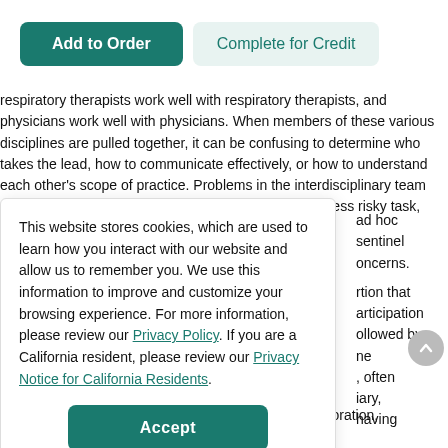[Figure (screenshot): Two buttons at top: 'Add to Order' (dark teal, filled) and 'Complete for Credit' (light teal, outline-style)]
respiratory therapists work well with respiratory therapists, and physicians work well with physicians. When members of these various disciplines are pulled together, it can be confusing to determine who takes the lead, how to communicate effectively, or how to understand each other's scope of practice. Problems in the interdisciplinary team are enough of a problem when they happen during a less risky task, such as transporting a patient to a new room.
...ad hoc sentinel concerns.
This website stores cookies, which are used to learn how you interact with our website and allow us to remember you. We use this information to improve and customize your browsing experience. For more information, please review our Privacy Policy. If you are a California resident, please review our Privacy Notice for California Residents.
rtion that articipation ollowed by ne l, often iary, having
representatives from various disciplines fosters collaboration, understanding